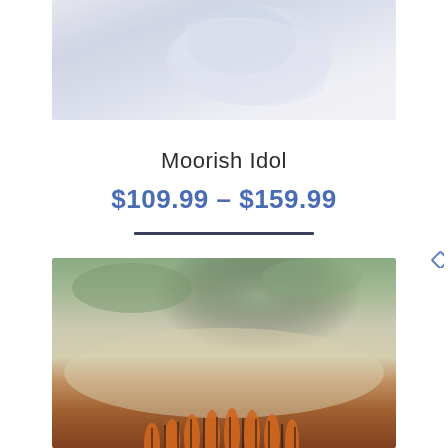[Figure (photo): Top portion of a Moorish Idol fish product photo, showing a light-colored fish against a pale background]
Moorish Idol
$109.99 – $159.99
[Figure (photo): Bottom portion showing another aquatic creature, likely a sea urchin or similar marine animal with orange spines visible against sandy and coral background]